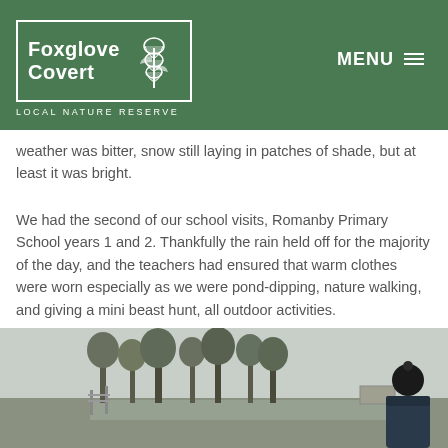Foxglove Covert LOCAL NATURE RESERVE | MENU
weather was bitter, snow still laying in patches of shade, but at least it was bright.
We had the second of our school visits, Romanby Primary School years 1 and 2. Thankfully the rain held off for the majority of the day, and the teachers had ensured that warm clothes were worn especially as we were pond-dipping, nature walking, and giving a mini beast hunt, all outdoor activities.
[Figure (photo): Outdoor scene at a nature reserve showing bare winter trees, wetland area, and a child wearing a dark hat viewed from behind]